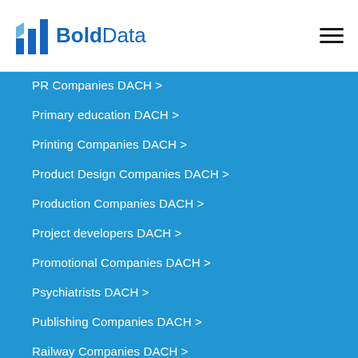BoldData
PR Companies DACH >
Primary education DACH >
Printing Companies DACH >
Product Design Companies DACH >
Production Companies DACH >
Project developers DACH >
Promotional Companies DACH >
Psychiatrists DACH >
Publishing Companies DACH >
Railway Companies DACH >
Real estate agents DACH >
Real Estate Companies DACH >
Recreation Companies DACH >